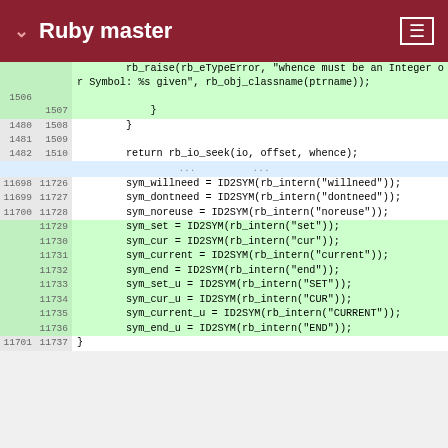Ruby master
[Figure (screenshot): Code diff view showing Ruby source file changes. Left column shows old line numbers, right column shows new line numbers, green highlighted rows are added lines. Context lines show IO seek and symbol initialization code. Added lines include sym_set, sym_cur, sym_current, sym_end, sym_set_u, sym_cur_u, sym_current_u, sym_end_u assignments using ID2SYM(rb_intern(...)).]